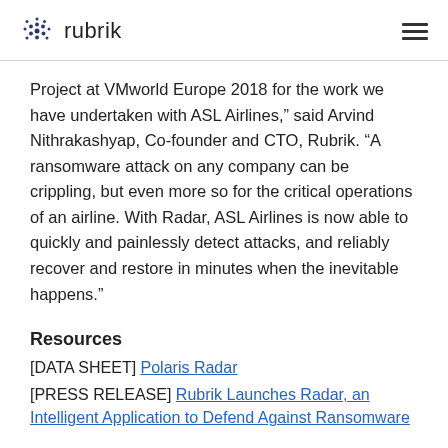rubrik
Project at VMworld Europe 2018 for the work we have undertaken with ASL Airlines," said Arvind Nithrakashyap, Co-founder and CTO, Rubrik. "A ransomware attack on any company can be crippling, but even more so for the critical operations of an airline. With Radar, ASL Airlines is now able to quickly and painlessly detect attacks, and reliably recover and restore in minutes when the inevitable happens."
Resources
[DATA SHEET] Polaris Radar
[PRESS RELEASE] Rubrik Launches Radar, an Intelligent Application to Defend Against Ransomware